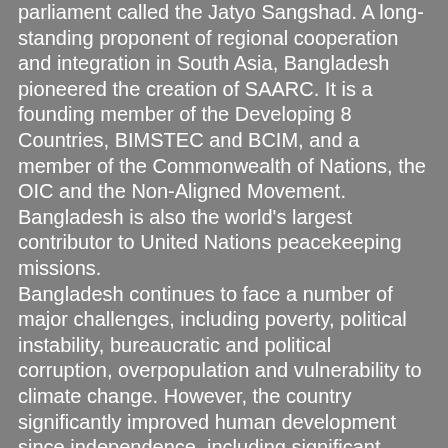parliament called the Jatyo Sangshad. A long-standing proponent of regional cooperation and integration in South Asia, Bangladesh pioneered the creation of SAARC. It is a founding member of the Developing 8 Countries, BIMSTEC and BCIM, and a member of the Commonwealth of Nations, the OIC and the Non-Aligned Movement. Bangladesh is also the world's largest contributor to United Nations peacekeeping missions. Bangladesh continues to face a number of major challenges, including poverty, political instability, bureaucratic and political corruption, overpopulation and vulnerability to climate change. However, the country significantly improved human development since independence, including significant progress on gender equity, universal primary education, reducing population growth, self-sufficiency in food production, improving healthcare and spreading sustainable energy. Poverty has declined by 25% since 1990, and per-capita GDP has more than doubled from 1975 levels.Bangladesh's economy has been identified as one of the Next Eleven. Dhaka and Chittagong, the country's two largest cities, have been the driving force behind much of the recent growth and are among the world's fastest-growing cities.